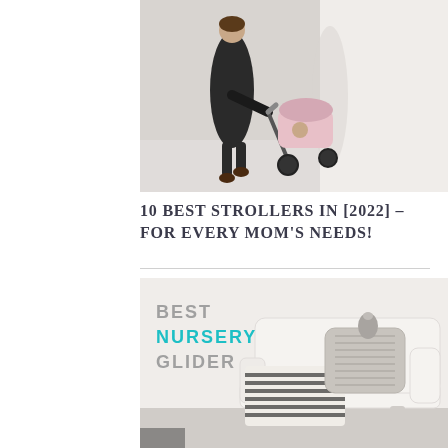[Figure (photo): Woman in a dark floral dress pushing a light pink baby stroller with a child inside, standing in front of a white wall]
10 BEST STROLLERS IN [2022] – FOR EVERY MOM'S NEEDS!
[Figure (photo): White nursery glider chair with a striped blanket and knit pillow, with text overlay reading BEST NURSERY GLIDER]